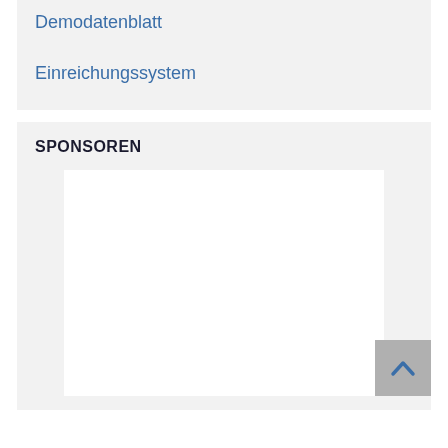Demodatenblatt
Einreichungssystem
SPONSOREN
[Figure (other): Empty white sponsor advertisement placeholder box]